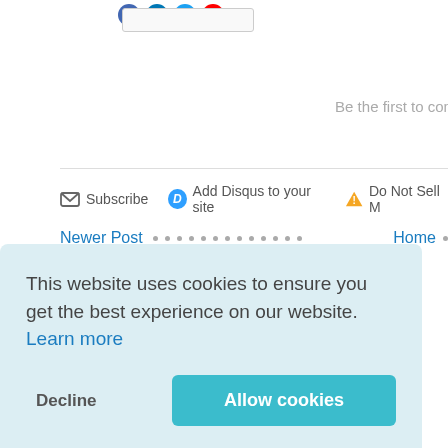[Figure (other): Social media icons: Facebook, LinkedIn, Twitter, YouTube circles plus a search bar]
Be the first to com
✉ Subscribe   D Add Disqus to your site   ▲ Do Not Sell M
Newer Post · · · · · · · · · · · · · · Home ·
Subscribe to: Post Comments (Atom)
This website uses cookies to ensure you get the best experience on our website.  Learn more
Decline
Allow cookies